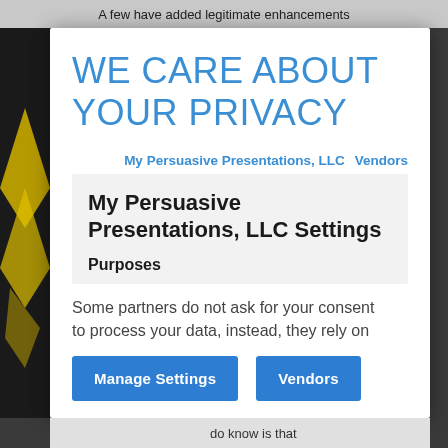A few have added legitimate enhancements
WE CARE ABOUT YOUR PRIVACY
My Persuasive Presentations, LLC   Vendors
My Persuasive Presentations, LLC Settings
Purposes
Some partners do not ask for your consent to process your data, instead, they rely on
Manage Settings   Vendors